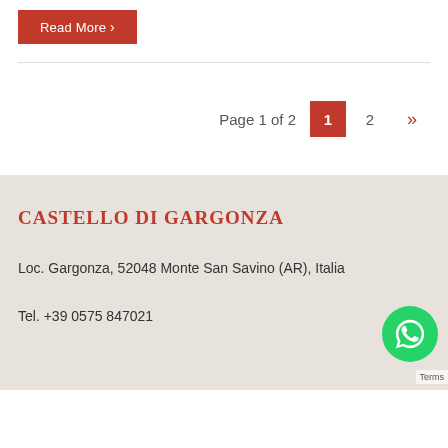Read More >
Page 1 of 2  1  2  »
CASTELLO DI GARGONZA
Loc. Gargonza, 52048 Monte San Savino (AR), Italia
Tel. +39 0575 847021